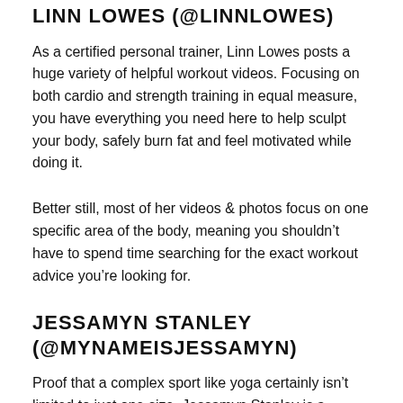LINN LOWES (@LINNLOWES)
As a certified personal trainer, Linn Lowes posts a huge variety of helpful workout videos. Focusing on both cardio and strength training in equal measure, you have everything you need here to help sculpt your body, safely burn fat and feel motivated while doing it.
Better still, most of her videos & photos focus on one specific area of the body, meaning you shouldn't have to spend time searching for the exact workout advice you're looking for.
JESSAMYN STANLEY (@MYNAMEISJESSAMYN)
Proof that a complex sport like yoga certainly isn't limited to just one size, Jessamyn Stanley is a qualified